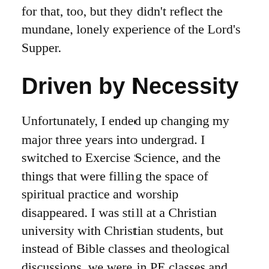for that, too, but they didn't reflect the mundane, lonely experience of the Lord's Supper.
Driven by Necessity
Unfortunately, I ended up changing my major three years into undergrad. I switched to Exercise Science, and the things that were filling the space of spiritual practice and worship disappeared. I was still at a Christian university with Christian students, but instead of Bible classes and theological discussions, we were in PE classes and discussing anatomy. Instead of exegesis, we were studying EKG's. Instead of praying, we were dissecting. I became spiritually ungrounded, but I had also been disillusioned from the “Sunday worship = church” idea. So, I didn’t go back.